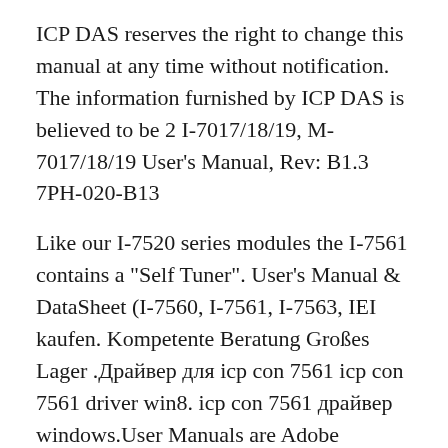ICP DAS reserves the right to change this manual at any time without notification. The information furnished by ICP DAS is believed to be 2 I-7017/18/19, M-7017/18/19 User's Manual, Rev: B1.3 7PH-020-B13
Like our I-7520 series modules the I-7561 contains a "Self Tuner". User's Manual & DataSheet (I-7560, I-7561, I-7563, IEI kaufen. Kompetente Beratung Großes Lager .Драйвер для icp con 7561 icp con 7561 driver win8. icp con 7561 драйвер windows.User Manuals are Adobe Acrobat PDF format. Welcome to Trane Canada! We have over 550 associates in 13 offices and 14 Parts Centres across the country. Please choose the office you would like to visit from below.